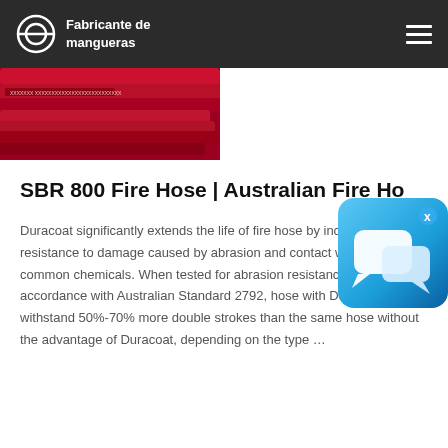Fabricante de mangueras
[Figure (photo): Red fire hoses stacked together, product image]
[Figure (screenshot): Blue chat widget overlay with speech bubble icon and X close button]
SBR 800 Fire Hose | Australian Fire Ho...
Duracoat significantly extends the life of fire hose by increasing its resistance to damage caused by abrasion and contact with most common chemicals. When tested for abrasion resistance in accordance with Australian Standard 2792, hose with Duracoat will withstand 50%-70% more double strokes than the same hose without the advantage of Duracoat, depending on the type ...